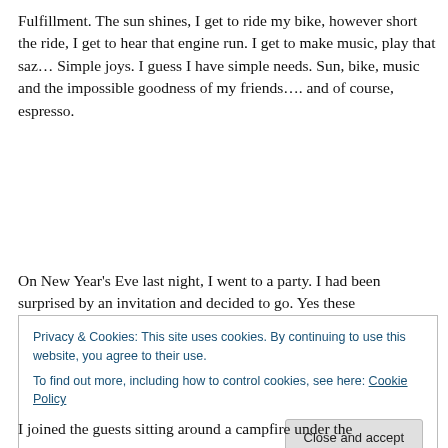Fulfillment.  The sun shines, I get to ride my bike, however short the ride, I get to hear that engine run.  I get to make music, play that saz…  Simple joys.   I guess I have simple needs. Sun, bike, music and the impossible goodness of my friends…. and of course, espresso.
On New Year's Eve last night, I went to a party. I had been surprised by an invitation and decided to go. Yes these
Privacy & Cookies: This site uses cookies. By continuing to use this website, you agree to their use.
To find out more, including how to control cookies, see here: Cookie Policy
Close and accept
I joined the guests sitting around a campfire under the